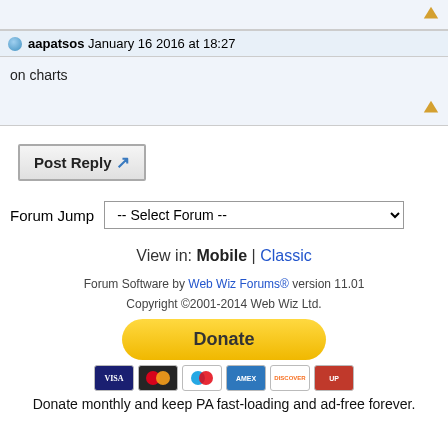aapatsos January 16 2016 at 18:27
on charts
Post Reply
Forum Jump -- Select Forum --
View in: Mobile | Classic
Forum Software by Web Wiz Forums® version 11.01
Copyright ©2001-2014 Web Wiz Ltd.
Donate
Donate monthly and keep PA fast-loading and ad-free forever.